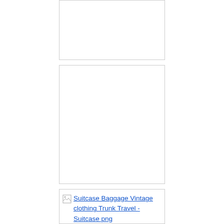[Figure (other): Empty image placeholder box 1 - white rectangle with light gray border, broken image]
[Figure (other): Empty image placeholder box 2 - white rectangle with light gray border, broken image]
[Figure (other): Broken image placeholder with link text: Suitcase Baggage Vintage clothing Trunk Travel - Suitcase png]